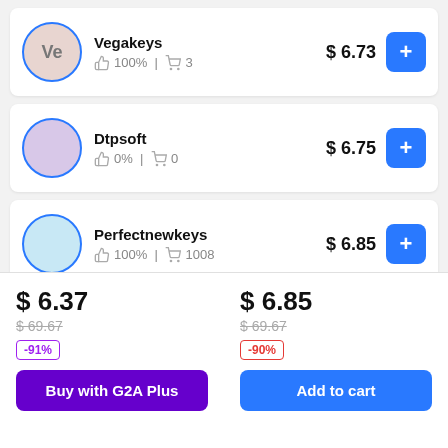Vegakeys — 100% | 3 — $6.73
Dtpsoft — 0% | 0 — $6.75
Perfectnewkeys — 100% | 1008 — $6.85
$6.37
$69.67
-91%
$6.85
$69.67
-90%
Buy with G2A Plus
Add to cart